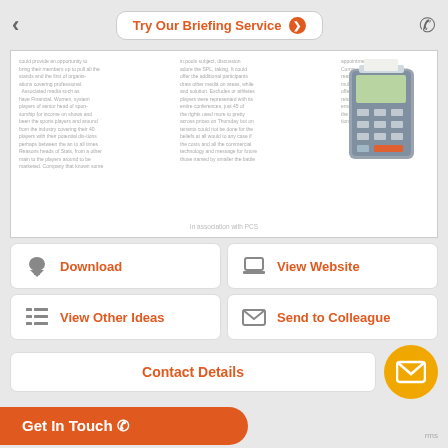Try Our Briefing Service
[Figure (screenshot): Document preview showing three columns of blurred text and a POS terminal image on the right, with a centered footer caption]
In association with PCS
Download
View Website
View Other Ideas
Send to Colleague
Contact Details
Get In Touch